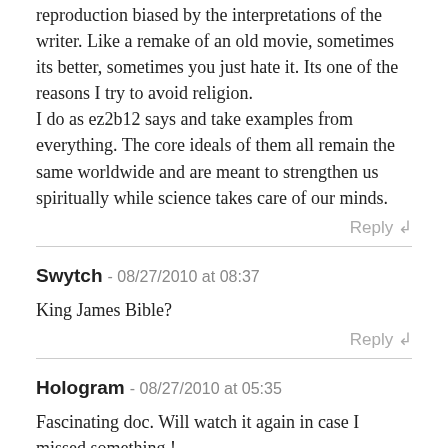Does it matter? Anything alter the original texts is just a reproduction biased by the interpretations of the writer. Like a remake of an old movie, sometimes its better, sometimes you just hate it. Its one of the reasons I try to avoid religion.
I do as ez2b12 says and take examples from everything. The core ideals of them all remain the same worldwide and are meant to strengthen us spiritually while science takes care of our minds.
Reply ↲
Swytch - 08/27/2010 at 08:37
King James Bible?
Reply ↲
Hologram - 08/27/2010 at 05:35
Fascinating doc. Will watch it again in case I missed something !